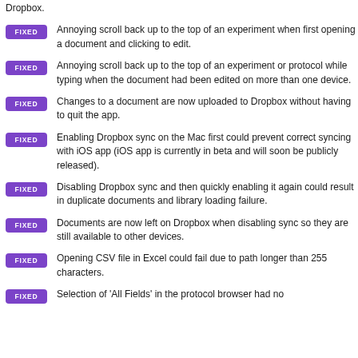Dropbox.
FIXED — Annoying scroll back up to the top of an experiment when first opening a document and clicking to edit.
FIXED — Annoying scroll back up to the top of an experiment or protocol while typing when the document had been edited on more than one device.
FIXED — Changes to a document are now uploaded to Dropbox without having to quit the app.
FIXED — Enabling Dropbox sync on the Mac first could prevent correct syncing with iOS app (iOS app is currently in beta and will soon be publicly released).
FIXED — Disabling Dropbox sync and then quickly enabling it again could result in duplicate documents and library loading failure.
FIXED — Documents are now left on Dropbox when disabling sync so they are still available to other devices.
FIXED — Opening CSV file in Excel could fail due to path longer than 255 characters.
FIXED — Selection of 'All Fields' in the protocol browser had no